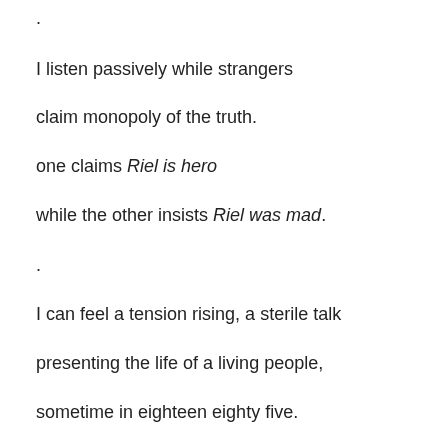.
I listen passively while strangers
claim monopoly of the truth.
one claims Riel is hero
while the other insists Riel was mad.
.
I can feel a tension rising, a sterile talk
presenting the life of a living people,
sometime in eighteen eighty five.
now, some time in nineteen ninety five
.